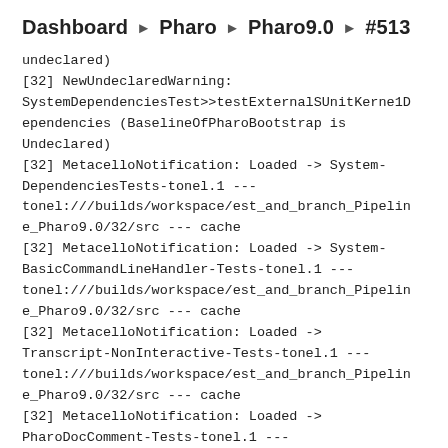Dashboard ▶ Pharo ▶ Pharo9.0 ▶ #513
undeclared)
[32] NewUndeclaredWarning: SystemDependenciesTest>>testExternalSUnitKernelDependencies (BaselineOfPharoBootstrap is Undeclared)
[32] MetacelloNotification: Loaded -> System-DependenciesTests-tonel.1 --- tonel:///builds/workspace/est_and_branch_Pipeline_Pharo9.0/32/src --- cache
[32] MetacelloNotification: Loaded -> System-BasicCommandLineHandler-Tests-tonel.1 --- tonel:///builds/workspace/est_and_branch_Pipeline_Pharo9.0/32/src --- cache
[32] MetacelloNotification: Loaded -> Transcript-NonInteractive-Tests-tonel.1 --- tonel:///builds/workspace/est_and_branch_Pipeline_Pharo9.0/32/src --- cache
[32] MetacelloNotification: Loaded -> PharoDocComment-Tests-tonel.1 --- tonel:///builds/workspace/est_and_branch_Pipeline_Pharo9.0/32/src --- cache